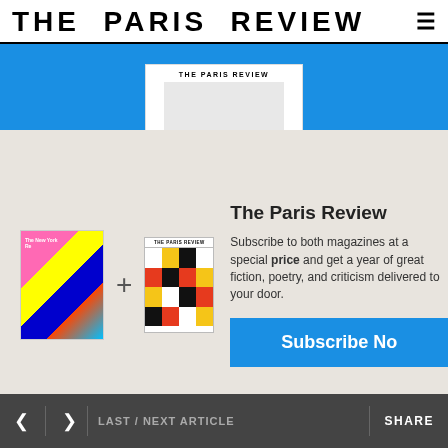THE PARIS REVIEW
[Figure (screenshot): Blue banner background with The Paris Review magazine cover card (white card with THE PARIS REVIEW header text and grey body area)]
[Figure (screenshot): Modal overlay with two magazine covers (The New York Review colorful cover + The Paris Review grid-pattern cover), plus subscription call to action text and Subscribe Now button]
The Paris Review
Subscribe to both magazines at a special price and get a year of great fiction, poetry, and criticism delivered to your door.
Subscribe No
< > LAST / NEXT ARTICLE   SHARE